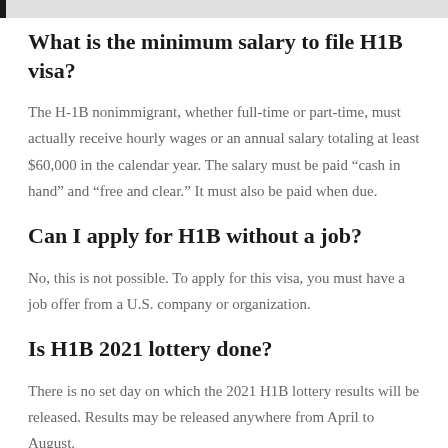What is the minimum salary to file H1B visa?
The H-1B nonimmigrant, whether full-time or part-time, must actually receive hourly wages or an annual salary totaling at least $60,000 in the calendar year. The salary must be paid “cash in hand” and “free and clear.” It must also be paid when due.
Can I apply for H1B without a job?
No, this is not possible. To apply for this visa, you must have a job offer from a U.S. company or organization.
Is H1B 2021 lottery done?
There is no set day on which the 2021 H1B lottery results will be released. Results may be released anywhere from April to August.